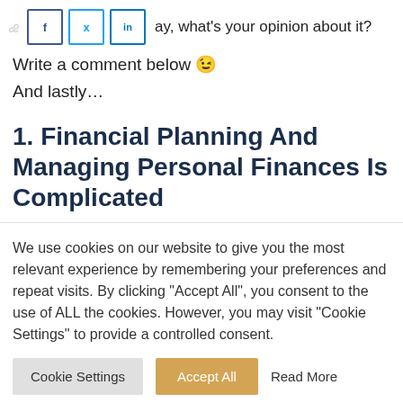...Either way, what's your opinion about it?
Write a comment below 😉
And lastly...
1. Financial Planning And Managing Personal Finances Is Complicated
We use cookies on our website to give you the most relevant experience by remembering your preferences and repeat visits. By clicking "Accept All", you consent to the use of ALL the cookies. However, you may visit "Cookie Settings" to provide a controlled consent.
Cookie Settings | Accept All | Read More